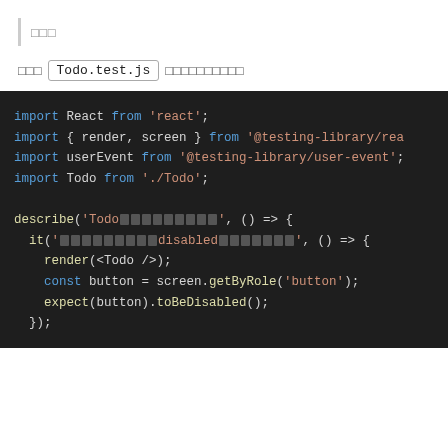（引用）
作成 Todo.test.js というファイルを作成します
[Figure (screenshot): Dark-themed code editor showing a JavaScript test file with imports from react, @testing-library/react, @testing-library/user-event, and a Todo component. Contains a describe block with an it block testing that a button is disabled.]